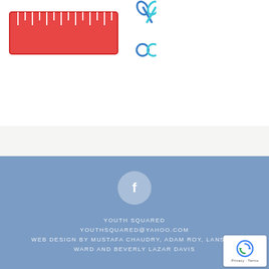[Figure (illustration): Clipart illustration of a red ruler and blue scissors on white background]
[Figure (logo): Facebook icon in a light blue circular button centered in the blue footer]
YOUTH SQUARED
YOUTHSQUARED@YAHOO.COM
WEB DESIGN BY MUSTAFA CHAUDRY, ADAM ROY, LANSING WARD AND BEVERLY LAZAR DAVIS
[Figure (other): Google reCAPTCHA badge in bottom right corner showing recaptcha logo with Privacy and Terms links]